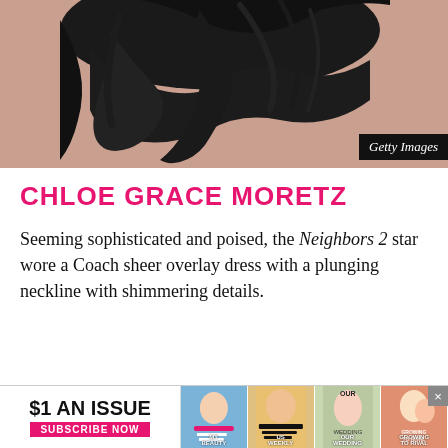[Figure (photo): Partial photo of a person with dark curly/wavy hair against a pinkish-beige background. Image is cropped showing mostly hair at top of frame. Getty Images watermark badge in lower right.]
CHLOE GRACE MORETZ
Seeming sophisticated and poised, the Neighbors 2 star wore a Coach sheer overlay dress with a plunging neckline with shimmering details.
[Figure (infographic): Advertisement banner: '$1 AN ISSUE — SUBSCRIBE NOW' with magazine cover thumbnails on the right and a close (×) button.]